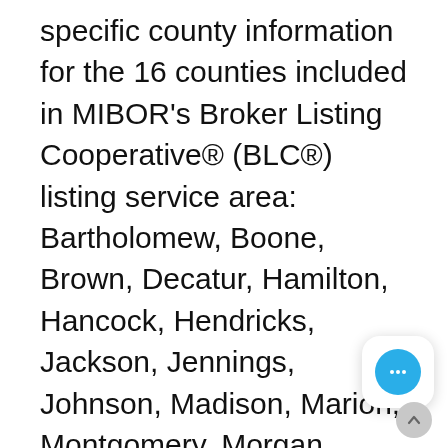specific county information for the 16 counties included in MIBOR's Broker Listing Cooperative® (BLC®) listing service area: Bartholomew, Boone, Brown, Decatur, Hamilton, Hancock, Hendricks, Jackson, Jennings, Johnson, Madison, Marion, Montgomery, Morgan, Putnam, and Shelby counties.
To coincide with the new MIBOR Market Insights Report, MIBOR has added a consumer tool to allow members of the public to view a number of market metrics such as number of units sold, median sales price, number of new listings and more. The metrics are shown graphically to show trends in the marketplace. To view the Market Insights, visit